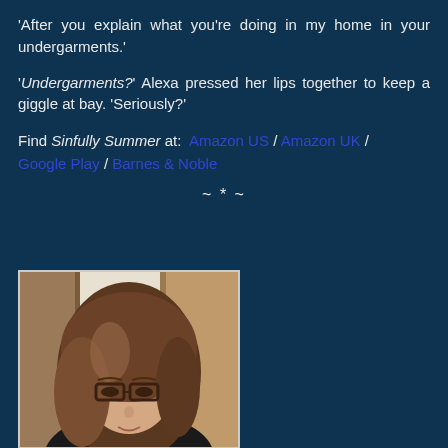'After you explain what you're doing in my home in your undergarments.'
'Undergarments?' Alexa pressed her lips together to keep a giggle at bay. 'Seriously?'
Find Sinfully Summer at: Amazon US / Amazon UK / Google Play / Barnes & Noble
~ * ~
[Figure (photo): Portrait photo of a woman with long brown hair, wearing glasses, against an indoor background]